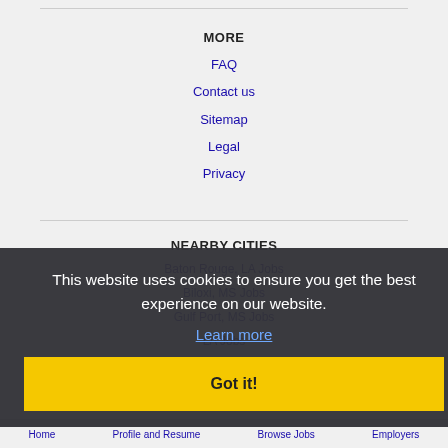MORE
FAQ
Contact us
Sitemap
Legal
Privacy
NEARBY CITIES
Baton Rouge, LA Jobs
Biloxi, MS Jobs
Gulf Port, MS Jobs
LA Jobs
New Orleans, LA Jobs
This website uses cookies to ensure you get the best experience on our website.
Learn more
Got it!
Home   Profile and Resume   Browse Jobs   Employers